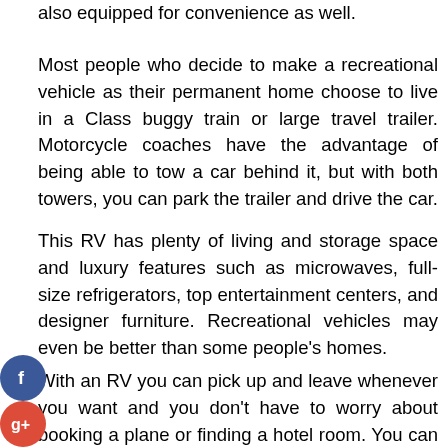also equipped for convenience as well.
Most people who decide to make a recreational vehicle as their permanent home choose to live in a Class buggy train or large travel trailer. Motorcycle coaches have the advantage of being able to tow a car behind it, but with both towers, you can park the trailer and drive the car.
This RV has plenty of living and storage space and luxury features such as microwaves, full-size refrigerators, top entertainment centers, and designer furniture. Recreational vehicles may even be better than some people's homes.
With an RV you can pick up and leave whenever you want and you don't have to worry about booking a plane or finding a hotel room. You can get into the season and stay in a place where the weather is good. You can see the